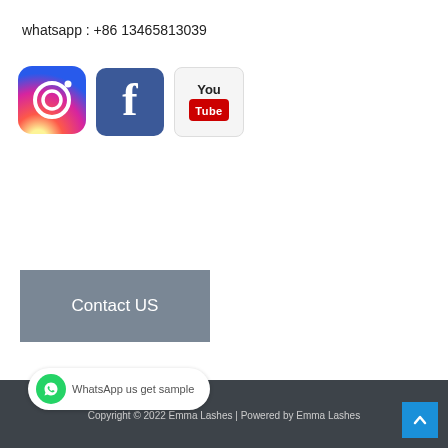whatsapp : +86 13465813039
[Figure (logo): Instagram logo icon]
[Figure (logo): Facebook logo icon]
[Figure (logo): YouTube logo icon]
Contact US
Copyright © 2022 Emma Lashes | Powered by Emma Lashes
WhatsApp us get sample